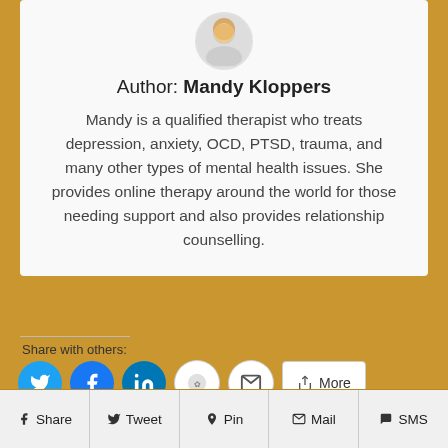[Figure (photo): Circular avatar photo of Mandy Kloppers, a woman with blonde hair]
Author: Mandy Kloppers
Mandy is a qualified therapist who treats depression, anxiety, OCD, PTSD, trauma, and many other types of mental health issues. She provides online therapy around the world for those needing support and also provides relationship counselling.
Share with others:
[Figure (infographic): Row of social share buttons: Twitter (blue circle), Facebook (blue circle), LinkedIn (blue circle), a decorative circle button, Email (white circle), and a More button]
f Share   Twitter Tweet   Pinterest Pin   Mail   SMS